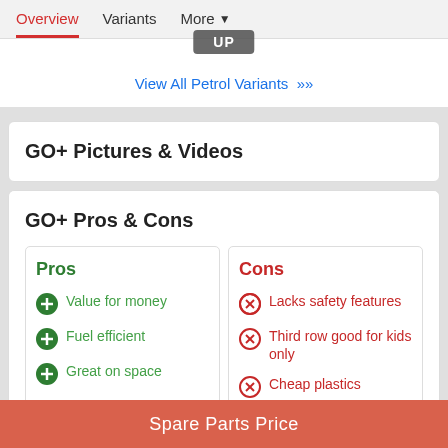Overview   Variants   More ▼
UP
View All Petrol Variants »
GO+ Pictures & Videos
GO+ Pros & Cons
Pros
Value for money
Fuel efficient
Great on space
Cons
Lacks safety features
Third row good for kids only
Cheap plastics
Spare Parts Price